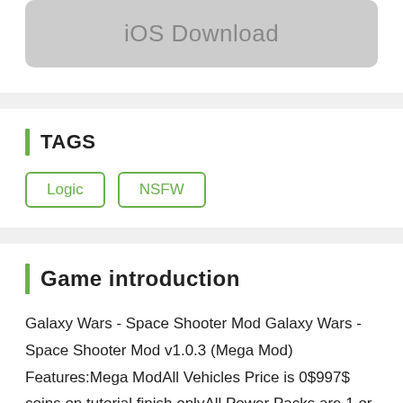[Figure (screenshot): iOS Download button — a rounded rectangle with light grey background and grey text reading 'iOS Download']
TAGS
Logic
NSFW
Game introduction
Galaxy Wars - Space Shooter Mod Galaxy Wars - Space Shooter Mod v1.0.3 (Mega Mod) Features:Mega ModAll Vehicles Price is 0$997$ coins on tutorial finish onlyAll Power Packs are 1 or 2 Coins onlyLevels are Player side to unlockEl Alien viene por nosotros y nuestra Tierra está en peligro. ¡Prepara a tu escuadrón, elige tu caza aéreo, equipa un arma poderosa y